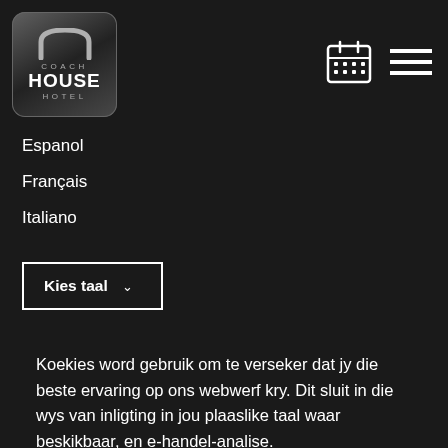[Figure (logo): Coach House Hotel logo — black rounded square with arch icon, text COACH HOUSE HOTEL]
[Figure (infographic): Calendar icon and hamburger menu icon in the top right corner]
Espanol
Français
Italiano
Kies taal
Koekies word gebruik om te verseker dat jy die beste ervaring op ons webwerf kry. Dit sluit in die wys van inligting in jou plaaslike taal waar beskikbaar, en e-handel-analise.
Koekiebeleid
Bestuur
Laat koekies toe